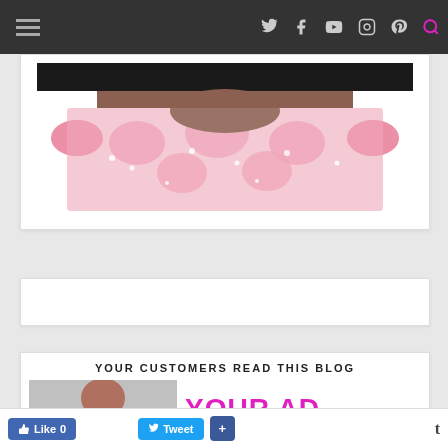Navigation bar with hamburger menu and social icons: Twitter, Facebook, YouTube, Instagram, Pinterest, Search
[Figure (photo): Close-up photo of a person wearing a pink floral lace dress with cap sleeves, showing the torso area. The dress has pink rose embroidery on white lace fabric.]
YOUR CUSTOMERS READ THIS BLOG
[Figure (photo): Partial photo of a person with hands near face on the left, and large magenta text reading YOUR AD on the right with dots indicating more text.]
Like 0   Tweet   +   t